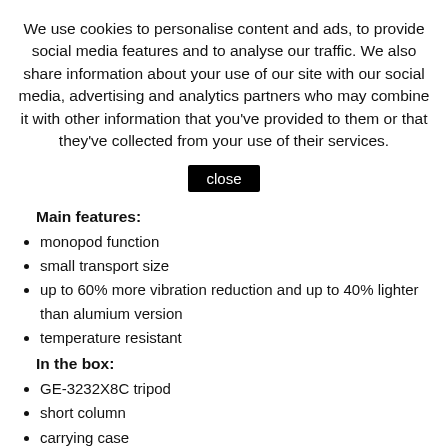We use cookies to personalise content and ads, to provide social media features and to analyse our traffic. We also share information about your use of our site with our social media, advertising and analytics partners who may combine it with other information that you've provided to them or that they've collected from your use of their services.
close
Main features:
monopod function
small transport size
up to 60% more vibration reduction and up to 40% lighter than alumium version
temperature resistant
In the box:
GE-3232X8C tripod
short column
carrying case
arm strap
consumer warranty:
2 years